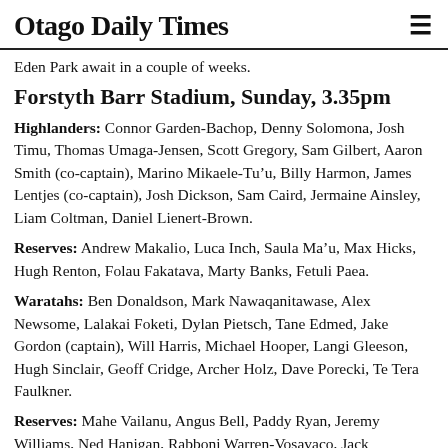Otago Daily Times
Eden Park await in a couple of weeks.
Forstyth Barr Stadium, Sunday, 3.35pm
Highlanders: Connor Garden-Bachop, Denny Solomona, Josh Timu, Thomas Umaga-Jensen, Scott Gregory, Sam Gilbert, Aaron Smith (co-captain), Marino Mikaele-Tu’u, Billy Harmon, James Lentjes (co-captain), Josh Dickson, Sam Caird, Jermaine Ainsley, Liam Coltman, Daniel Lienert-Brown.
Reserves: Andrew Makalio, Luca Inch, Saula Ma’u, Max Hicks, Hugh Renton, Folau Fakatava, Marty Banks, Fetuli Paea.
Waratahs: Ben Donaldson, Mark Nawaqanitawase, Alex Newsome, Lalakai Foketi, Dylan Pietsch, Tane Edmed, Jake Gordon (captain), Will Harris, Michael Hooper, Langi Gleeson, Hugh Sinclair, Geoff Cridge, Archer Holz, Dave Porecki, Te Tera Faulkner.
Reserves: Mahe Vailanu, Angus Bell, Paddy Ryan, Jeremy Williams, Ned Hanigan, Rabboni Warren-Vosavaco, Jack